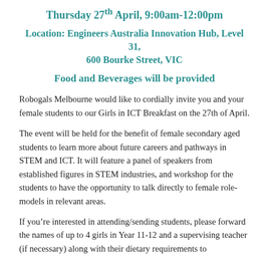Thursday 27th April, 9:00am-12:00pm
Location: Engineers Australia Innovation Hub, Level 31, 600 Bourke Street, VIC
Food and Beverages will be provided
Robogals Melbourne would like to cordially invite you and your female students to our Girls in ICT Breakfast on the 27th of April.
The event will be held for the benefit of female secondary aged students to learn more about future careers and pathways in STEM and ICT. It will feature a panel of speakers from established figures in STEM industries, and workshop for the students to have the opportunity to talk directly to female role-models in relevant areas.
If you’re interested in attending/sending students, please forward the names of up to 4 girls in Year 11-12 and a supervising teacher (if necessary) along with their dietary requirements to